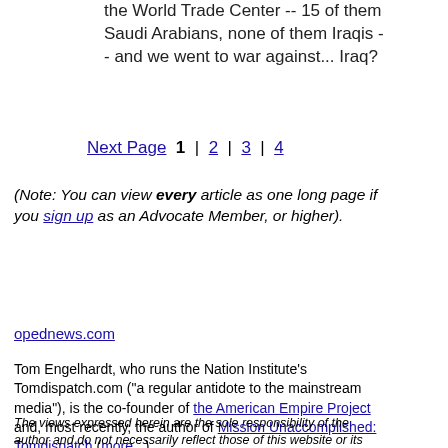the World Trade Center -- 15 of them Saudi Arabians, none of them Iraqis -- and we went to war against... Iraq?
Next Page  1  |  2  |  3  |  4
(Note: You can view every article as one long page if you sign up as an Advocate Member, or higher).
opednews.com
Tom Engelhardt, who runs the Nation Institute's Tomdispatch.com ("a regular antidote to the mainstream media"), is the co-founder of the American Empire Project and, most recently, the author of Mission Unaccomplished: Tomdispatch (more...)
The views expressed herein are the sole responsibility of the author and do not necessarily reflect those of this website or its editors.